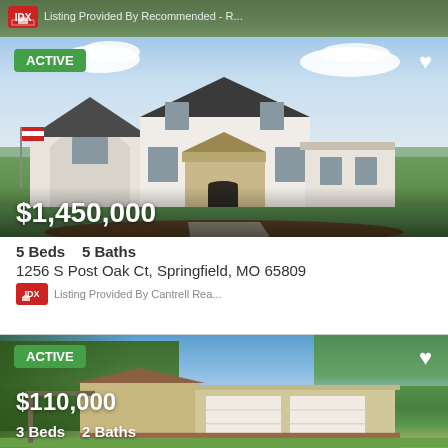[Figure (photo): Partial real estate listing card at top, showing green landscape background with IDX logo and listing provided by text]
[Figure (photo): Photo of a large white two-story colonial-style home with green lawn, trees, and blue sky. Active listing badge top left, heart icon top right. Price $1,450,000 overlaid on lower portion of photo.]
$1,450,000
5 Beds    5 Baths
1256 S Post Oak Ct, Springfield, MO 65809
Listing Provided By Cantrell Rea...
[Figure (photo): Photo of a ranch-style brick home with two-car garage, surrounded by trees with blue sky. Active listing badge top left, heart icon top right. Price $110,000 overlaid on lower portion of photo.]
$110,000
3 Beds    2 Baths